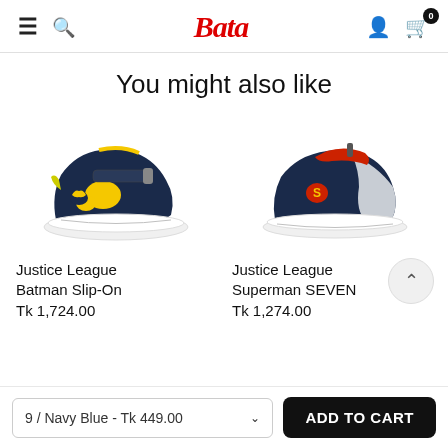Bata
You might also like
[Figure (photo): Justice League Batman Slip-On children's shoe — dark navy with yellow accents and Batman logo, white sole]
Justice League Batman Slip-On
Tk 1,724.00
[Figure (photo): Justice League Superman SEVEN children's sneaker — dark navy with red and grey accents and Superman logo, white sole]
Justice League Superman SEVEN
Tk 1,274.00
9 / Navy Blue - Tk 449.00
ADD TO CART